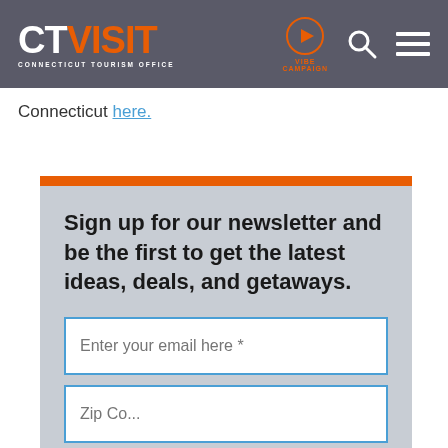CTVISIT Connecticut Tourism Office | VIBE CAMPAIGN
Connecticut here.
Sign up for our newsletter and be the first to get the latest ideas, deals, and getaways.
Enter your email here *
Zip Code